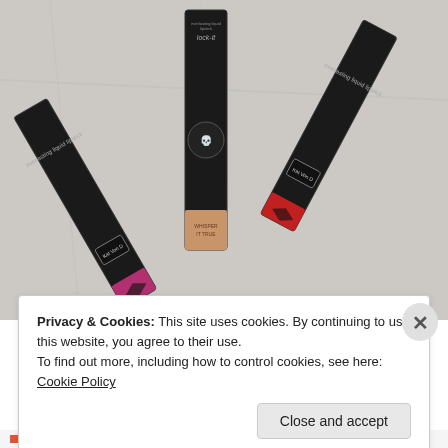[Figure (photo): Three Kat Von D Lock-It Everlasting Liquid Lipstick boxes standing upright on a white marble surface. The boxes are black with ornate floral/tattoo art, showing 'everlasting liquid lipstick' text and 'lock-it' branding. Each box has a colored lipstick swatch at the bottom: pink/magenta on the left, nude/tan in the center, and red on the right. The center box shows the Kat Von D skull logo medallion.]
Privacy & Cookies: This site uses cookies. By continuing to use this website, you agree to their use.
To find out more, including how to control cookies, see here: Cookie Policy
HEART THIS